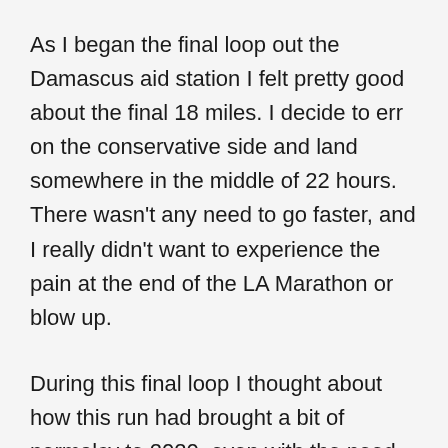As I began the final loop out the Damascus aid station I felt pretty good about the final 18 miles. I decide to err on the conservative side and land somewhere in the middle of 22 hours. There wasn't any need to go faster, and I really didn't want to experience the pain at the end of the LA Marathon or blow up.
During this final loop I thought about how this run had brought a bit of normalcy to 2020, even with the need to wear a face mask for sections of the race and the aid stations setup being a bit different. I also reflected on the fact that this was the first 100 that I had done solo with no pacers bringing